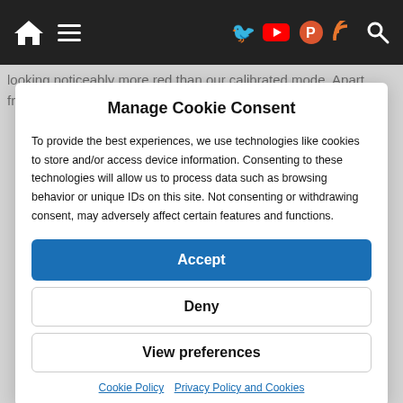Navigation bar with home icon, hamburger menu, and social icons (Twitter, YouTube, ProductHunt, RSS, Search)
looking noticeably more red than our calibrated mode. Apart from this the setup seemed decent, with a reasonably good
Manage Cookie Consent
To provide the best experiences, we use technologies like cookies to store and/or access device information. Consenting to these technologies will allow us to process data such as browsing behavior or unique IDs on this site. Not consenting or withdrawing consent, may adversely affect certain features and functions.
Accept
Deny
View preferences
Cookie Policy   Privacy Policy and Cookies